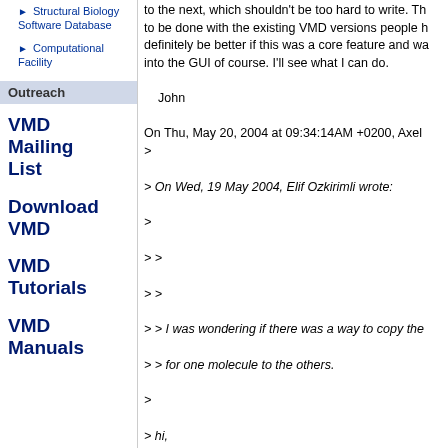Structural Biology Software Database
Computational Facility
Outreach
VMD Mailing List
Download VMD
VMD Tutorials
VMD Manuals
to the next, which shouldn't be too hard to write. Th... to be done with the existing VMD versions people h... definitely be better if this was a core feature and wa... into the GUI of course. I'll see what I can do.

John

On Thu, May 20, 2004 at 09:34:14AM +0200, Axel...
>
> On Wed, 19 May 2004, Elif Ozkirimli wrote:
>
> >
> >
> > I was wondering if there was a way to copy the...
> > for one molecule to the others.
>
> hi,
>
> i guess the most pragmatic solution would be to u...
> function once you have created the visualization...
> load the resulting script file into a text editor, dup...
> between 'mol delrep 0 top' to 'mol rename top {...
> first molecule to the definition of the others, and t...
> this script back into vmd.
>
> axel.
>
> >